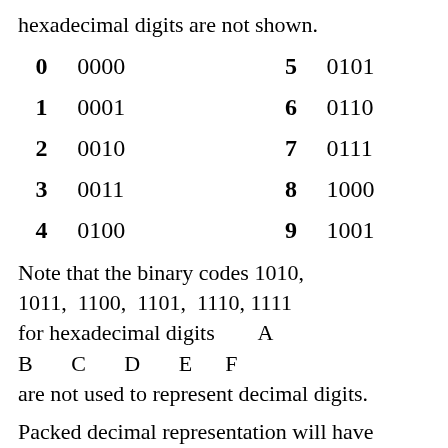hexadecimal digits are not shown.
| 0 | 0000 | 5 | 0101 |
| 1 | 0001 | 6 | 0110 |
| 2 | 0010 | 7 | 0111 |
| 3 | 0011 | 8 | 1000 |
| 4 | 0100 | 9 | 1001 |
Note that the binary codes 1010, 1011, 1100, 1101, 1110, 1111 for hexadecimal digits A B C D E F are not used to represent decimal digits.
Packed decimal representation will have